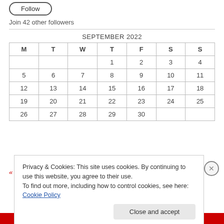Follow
Join 42 other followers
| M | T | W | T | F | S | S |
| --- | --- | --- | --- | --- | --- | --- |
|  |  |  | 1 | 2 | 3 | 4 |
| 5 | 6 | 7 | 8 | 9 | 10 | 11 |
| 12 | 13 | 14 | 15 | 16 | 17 | 18 |
| 19 | 20 | 21 | 22 | 23 | 24 | 25 |
| 26 | 27 | 28 | 29 | 30 |  |  |
« May
Privacy & Cookies: This site uses cookies. By continuing to use this website, you agree to their use.
To find out more, including how to control cookies, see here: Cookie Policy
Close and accept